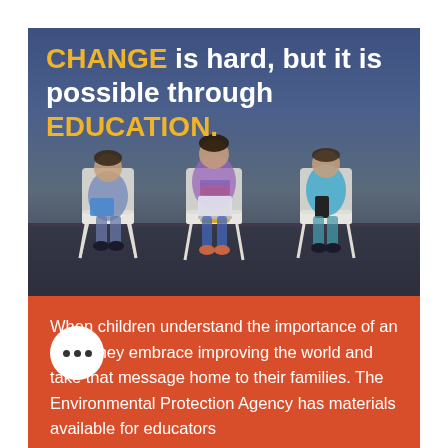[Figure (photo): Three children sitting on chairs against a blue background, using tablets and devices, with a yellow backpack on one chair. Text overlay reads: CHANGE is hard, but it is possible through EDUCATION.]
CHANGE is hard, but it is possible through EDUCATION.
When children understand the importance of an issue they embrace improving the world and take that message home to their families. The Environmental Protection Agency has materials available for educators